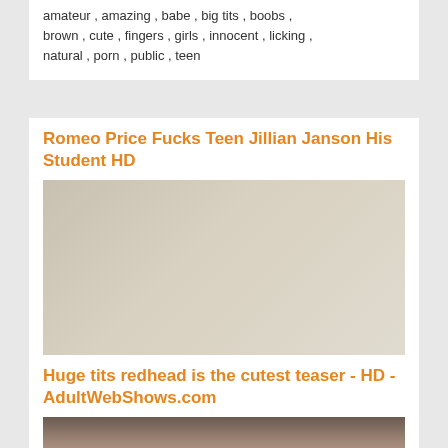amateur , amazing , babe , big tits , boobs , brown , cute , fingers , girls , innocent , licking , natural , porn , public , teen
Romeo Price Fucks Teen Jillian Janson His Student HD
[Figure (photo): Video thumbnail showing two people in a room]
ass , ass licking , beauty , blowjob , boobs , cock , cumshot , fucks , hardcore , hardsex , hot , panties , pornstar , riding , school
Huge tits redhead is the cutest teaser - HD - AdultWebShows.com
[Figure (photo): Video thumbnail showing a person]